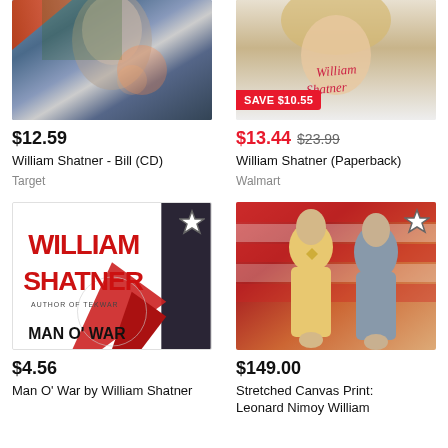[Figure (photo): Partial book cover with sci-fi imagery, William Shatner CD]
$12.59
William Shatner - Bill (CD)
Target
[Figure (photo): Partial book cover with woman's face, William Shatner Paperback, SAVE $10.55 badge]
$13.44  $23.99
William Shatner (Paperback)
Walmart
[Figure (photo): Book cover: William Shatner - Man O' War, red and black design with star bookmark]
$4.56
Man O' War by William Shatner
[Figure (photo): Stretched canvas print photo of Leonard Nimoy and William Shatner in Star Trek uniforms, star bookmark]
$149.00
Stretched Canvas Print: Leonard Nimoy William...